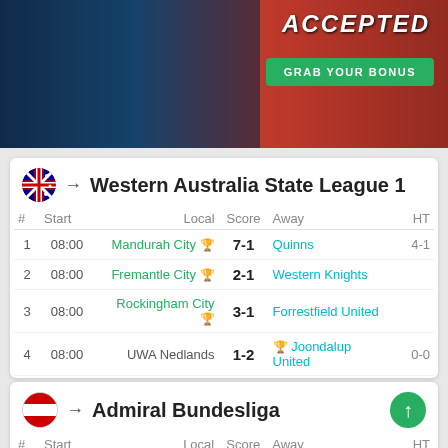[Figure (photo): Sports betting banner with athletes and ACCEPTED text, GRAB YOUR BONUS green button]
Western Australia State League 1
| # | Start | Local | Score | Away | HT |
| --- | --- | --- | --- | --- | --- |
| 1 | 08:00 | Mandurah City 🏆 | 7-1 | Quinns | 4-1 |
| 2 | 08:00 | Fremantle City 🏆 | 2-1 | Western Knights |  |
| 3 | 08:00 | Rockingham City 🏆 | 3-1 | Forrestfield United |  |
| 4 | 08:00 | UWA Nedlands | 1-2 | 🏆 Joondalup United | 0-0 |
| 5 | 11:00 | Murdoch Uni Melville 🏆 | 2-1 | Subiaco | 0-0 |
| 6 | 12:30 | Olympic Kingsway 🏆 | 2-0 | Dianella White Eagles | 2-0 |
Admiral Bundesliga
| # | Start | Local | Score | Away | HT |
| --- | --- | --- | --- | --- | --- |